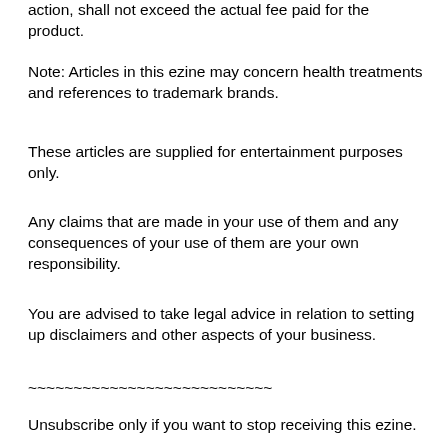The liability for damages, regardless of the form of the action, shall not exceed the actual fee paid for the product.
Note: Articles in this ezine may concern health treatments and references to trademark brands.
These articles are supplied for entertainment purposes only.
Any claims that are made in your use of them and any consequences of your use of them are your own responsibility.
You are advised to take legal advice in relation to setting up disclaimers and other aspects of your business.
~~~~~~~~~~~~~~~~~~~~~~~~~~~
Unsubscribe only if you want to stop receiving this ezine.